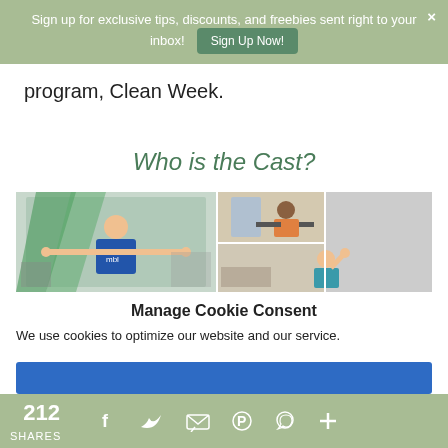Sign up for exclusive tips, discounts, and freebies sent right to your inbox! Sign Up Now! ×
program, Clean Week.
Who is the Cast?
[Figure (photo): Collage of fitness instructors: woman in blue tank top with arms outstretched in a gym, a person working out with dumbbells, and a man in a teal shirt doing exercises.]
Manage Cookie Consent
We use cookies to optimize our website and our service.
212 SHARES